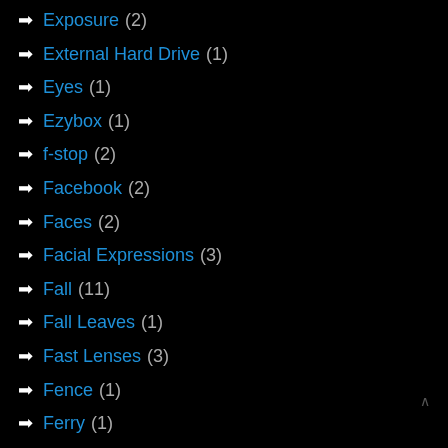➡ Exposure (2)
➡ External Hard Drive (1)
➡ Eyes (1)
➡ Ezybox (1)
➡ f-stop (2)
➡ Facebook (2)
➡ Faces (2)
➡ Facial Expressions (3)
➡ Fall (11)
➡ Fall Leaves (1)
➡ Fast Lenses (3)
➡ Fence (1)
➡ Ferry (1)